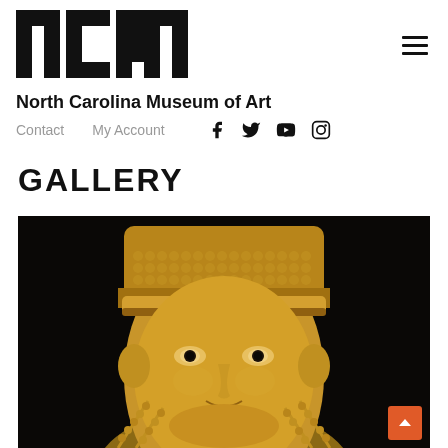ncma North Carolina Museum of Art
Contact   My Account
GALLERY
[Figure (photo): Close-up photograph of an ancient Egyptian gilded mummy mask with dark eyes, beaded headdress, and decorative collar against a dark background]